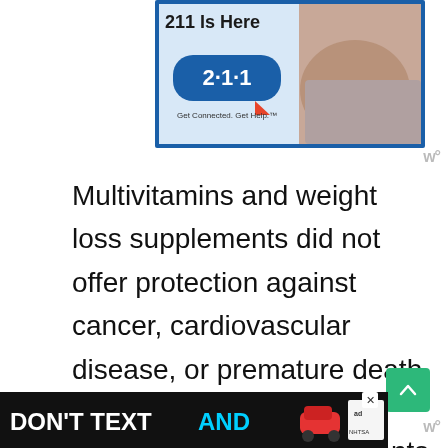[Figure (infographic): 211 Is Here advertisement with blue background showing 2·1·1 logo bubble with text 'Get Connected. Get Help.' and photo of person]
Multivitamins and weight loss supplements did not offer protection against cancer, cardiovascular disease, or premature death.
It is certain that supplements do not replace a healthy, nutritional diet.
[Figure (infographic): DON'T TEXT AND drive advertisement with car emoji and NHTSA logo]